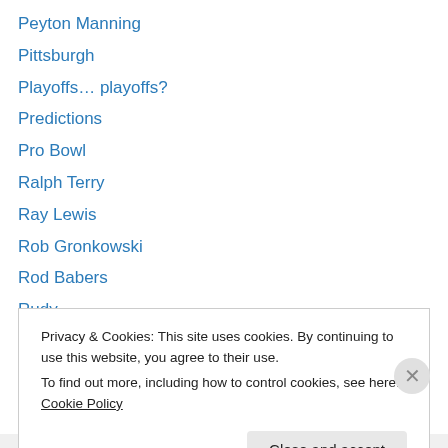Peyton Manning
Pittsburgh
Playoffs… playoffs?
Predictions
Pro Bowl
Ralph Terry
Ray Lewis
Rob Gronkowski
Rod Babers
Rudy
Russell Westbrook
Saints
San Francisco
Privacy & Cookies: This site uses cookies. By continuing to use this website, you agree to their use. To find out more, including how to control cookies, see here: Cookie Policy